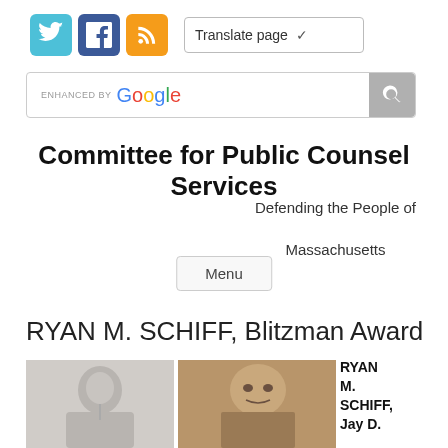[Figure (screenshot): Social media icons (Twitter, Facebook, RSS) and Translate page dropdown]
[Figure (screenshot): Enhanced by Google search bar with search button]
Committee for Public Counsel Services
Defending the People of Massachusetts
Menu
RYAN M. SCHIFF, Blitzman Award
[Figure (photo): Two people in photographs side by side]
RYAN M. SCHIFF, Jay D.